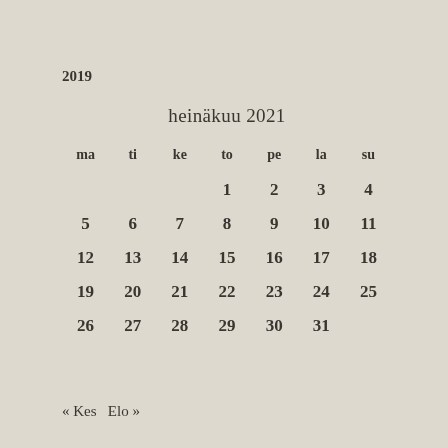2019
| ma | ti | ke | to | pe | la | su |
| --- | --- | --- | --- | --- | --- | --- |
|  |  |  | 1 | 2 | 3 | 4 |
| 5 | 6 | 7 | 8 | 9 | 10 | 11 |
| 12 | 13 | 14 | 15 | 16 | 17 | 18 |
| 19 | 20 | 21 | 22 | 23 | 24 | 25 |
| 26 | 27 | 28 | 29 | 30 | 31 |  |
« Kes  Elo »